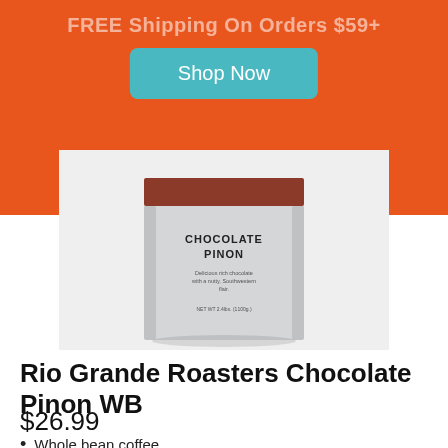FREE Shipping On Orders $59+
[Figure (other): Teal Shop Now button on orange banner background]
[Figure (photo): Silver coffee bag labeled CHOCOLATE PINON with brown top seal, on light gray background]
Rio Grande Roasters Chocolate Pinon WB
$26.99
Whole bean coffee.
100% arabica.